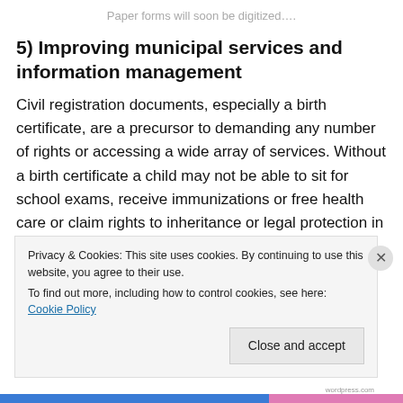Paper forms will soon be digitized….
5) Improving municipal services and information management
Civil registration documents, especially a birth certificate, are a precursor to demanding any number of rights or accessing a wide array of services. Without a birth certificate a child may not be able to sit for school exams, receive immunizations or free health care or claim rights to inheritance or legal protection in courts of law. Proof of age is critical in successfully prosecuting perpetrators of
Privacy & Cookies: This site uses cookies. By continuing to use this website, you agree to their use.
To find out more, including how to control cookies, see here: Cookie Policy
wordpress.com